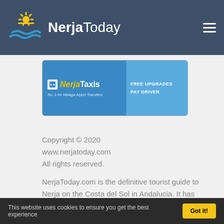NerjaToday
[Figure (logo): NerjaToday website header with sun/water logo and hamburger menu on dark blue background]
[Figure (photo): NerjaTaxis advertisement banner - No. 1 for Malaga Airport Transfers, FREE UPGRADES PAY DRIVER]
Copyright © 2020
www.nerjatoday.com
All rights reserved.
NerjaToday.com is the definitive tourist guide to Nerja on the Costa del Sol in Andalucia. It has been online for almost 14 years. Nerja Today supports Nerja Tourism.
This website uses cookies to ensure you get the best experience   Got it!